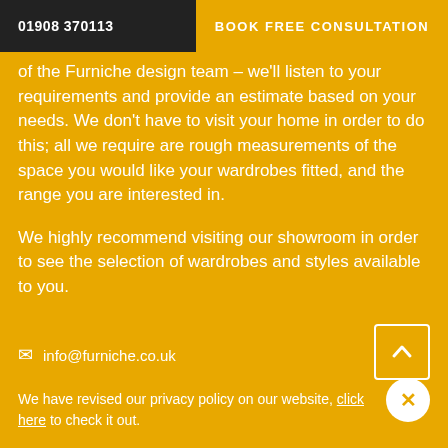01908 370113   BOOK FREE CONSULTATION
of the Furniche design team – we'll listen to your requirements and provide an estimate based on your needs. We don't have to visit your home in order to do this; all we require are rough measurements of the space you would like your wardrobes fitted, and the range you are interested in.
We highly recommend visiting our showroom in order to see the selection of wardrobes and styles available to you.
[Figure (screenshot): Audio player popup card titled 'Listen To Us On The Radio' with a play button, time display showing 0:00, volume icon, and more options icon, with a close (X) button in the top right of the card.]
info@furniche.co.uk
We have revised our privacy policy on our website, click here to check it out.